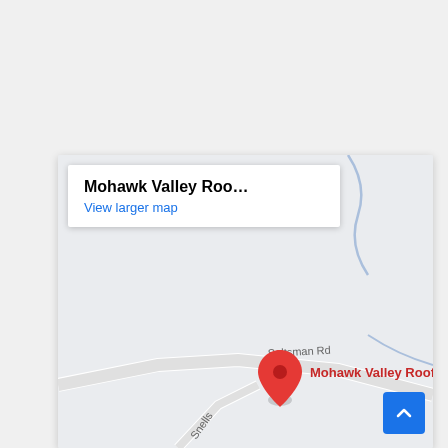[Figure (map): Google Maps screenshot showing location of Mohawk Valley Roofing on Saltsman Rd. A red map pin marks the location labeled 'Mohawk Valley Roofing'. A street called Saltsman Rd is visible, along with partial text 'Snell' at the bottom. A popup box at top-left shows 'Mohawk Valley Roo...' and a 'View larger map' link in blue. A blue scroll-to-top button is in the bottom-right corner.]